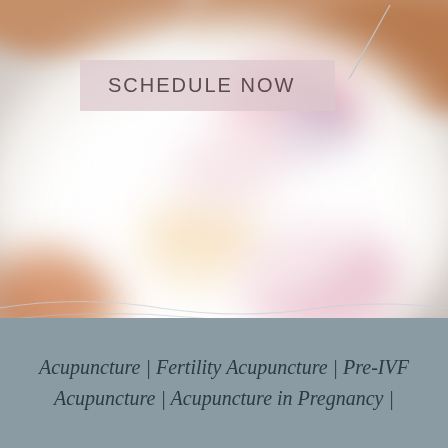[Figure (photo): Close-up photo of acupuncture needles being inserted into a person's back. The person is lying on a colorful patterned surface and hands of the practitioner are visible at the top. The image is bright and slightly blurred/soft focused.]
SCHEDULE NOW
Acupuncture | Fertility Acupuncture | Pre-IVF Acupuncture | Acupuncture in Pregnancy |